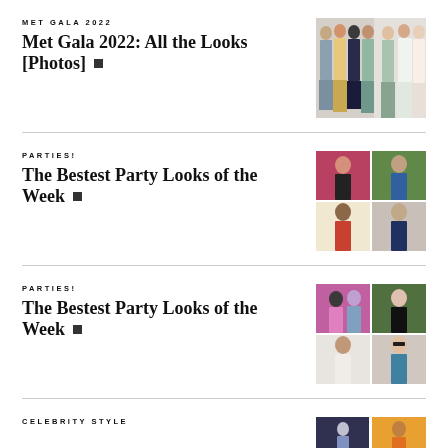MET GALA 2022
Met Gala 2022: All the Looks [Photos] ■
[Figure (photo): Group photo of women in colorful gowns at Met Gala 2022]
PARTIES!
The Bestest Party Looks of the Week ■
[Figure (photo): Collage of four party looks photos]
PARTIES!
The Bestest Party Looks of the Week ■
[Figure (photo): Collage of four party looks photos, different group]
CELEBRITY STYLE